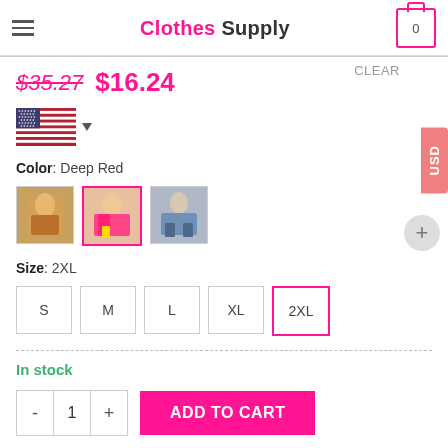Clothes Supply
$35.27  $16.24
[Figure (illustration): US flag with dropdown arrow for currency/region selector]
CLEAR
USD
Color: Deep Red
[Figure (photo): Three color swatch thumbnails showing clothing items; second (pink/red outfit) is selected with pink border]
Size: 2XL
S  M  L  XL  2XL — size selector buttons, 2XL selected
In stock
- 1 +  ADD TO CART